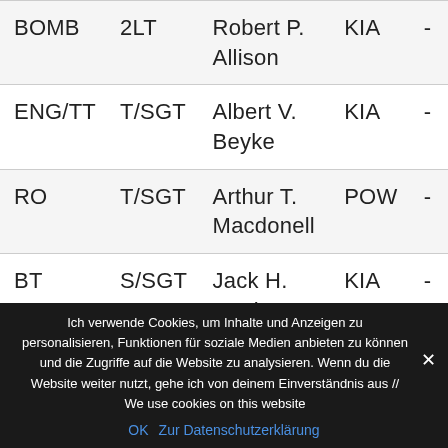| BOMB | 2LT | Robert P. Allison | KIA | - |
| ENG/TT | T/SGT | Albert V. Beyke | KIA | - |
| RO | T/SGT | Arthur T. Macdonell | POW | - |
| BT | S/SGT | Jack H. Lawless | KIA | - |
Ich verwende Cookies, um Inhalte und Anzeigen zu personalisieren, Funktionen für soziale Medien anbieten zu können und die Zugriffe auf die Website zu analysieren. Wenn du die Website weiter nutzt, gehe ich von deinem Einverständnis aus // We use cookies on this website
OK   Zur Datenschutzerklärung